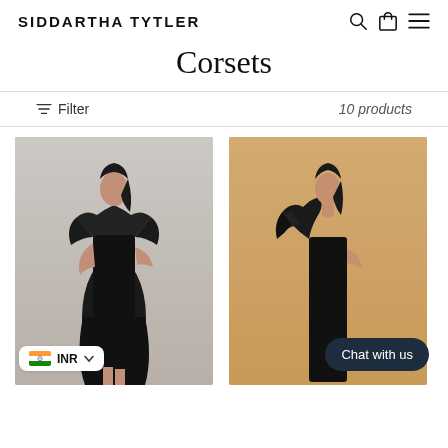SIDDARTHA TYTLER
Corsets
Filter   10 products
[Figure (photo): Fashion model in black leather corset dress on grey background]
[Figure (photo): Fashion model in black ruffled corset top on beige/tan background]